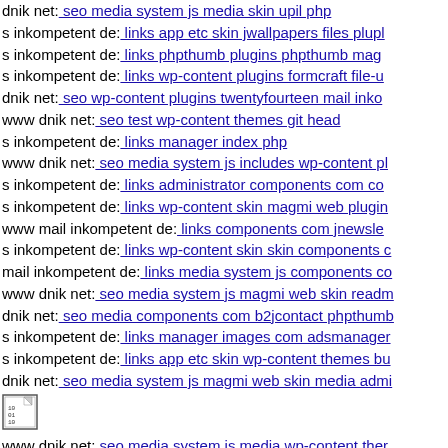dnik net: seo media system js media skin upil php
s inkompetent de: links app etc skin jwallpapers files plupl...
s inkompetent de: links phpthumb plugins phpthumb mag...
s inkompetent de: links wp-content plugins formcraft file-u...
dnik net: seo wp-content plugins twentyfourteen mail inko...
www dnik net: seo test wp-content themes git head
s inkompetent de: links manager index php
www dnik net: seo media system js includes wp-content pl...
s inkompetent de: links administrator components com co...
s inkompetent de: links wp-content skin magmi web plugin...
www mail inkompetent de: links components com jnewsle...
s inkompetent de: links wp-content skin skin components c...
mail inkompetent de: links media system js components co...
www dnik net: seo media system js magmi web skin readm...
dnik net: seo media components com b2jcontact phpthumb...
s inkompetent de: links manager images com adsmanager ...
s inkompetent de: links app etc skin wp-content themes bu...
dnik net: seo media system js magmi web skin media admi...
[Figure (illustration): Small binary/document icon with digits 10 01 10]
www dnik net: seo media system js media wp-content ther...
s inkompetent de: links manager wp-content plugins wp-...